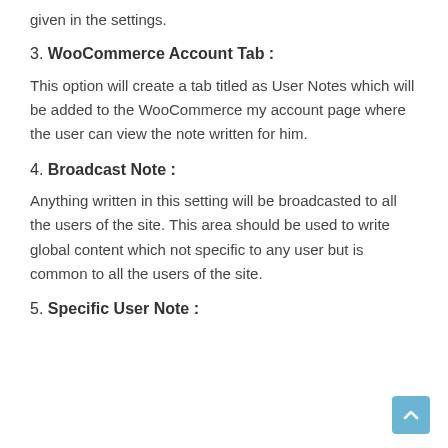given in the settings.
3. WooCommerce Account Tab :
This option will create a tab titled as User Notes which will be added to the WooCommerce my account page where the user can view the note written for him.
4. Broadcast Note :
Anything written in this setting will be broadcasted to all the users of the site. This area should be used to write global content which not specific to any user but is common to all the users of the site.
5. Specific User Note :